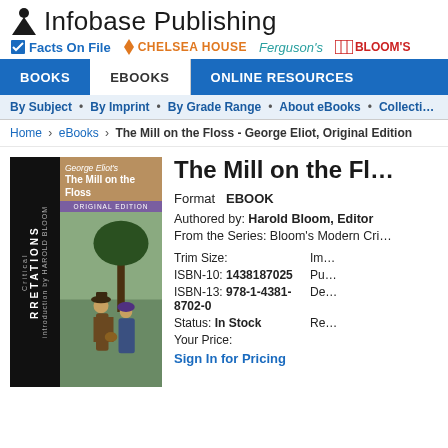[Figure (logo): Infobase Publishing logo with person icon and company name]
[Figure (logo): Brand logos: Facts On File, Chelsea House, Ferguson's, Bloom's]
BOOKS  eBOOKS  ONLINE RESOURCES
By Subject • By Imprint • By Grade Range • About eBooks • Collections
Home › eBooks › The Mill on the Floss - George Eliot, Original Edition
[Figure (illustration): Book cover: George Eliot's The Mill on the Floss, Original Edition, edited by Harold Bloom. Shows two Victorian figures.]
The Mill on the Fl…
Format  EBOOK
Authored by: Harold Bloom, Editor
From the Series: Bloom's Modern Cri…
Trim Size:
ISBN-10: 1438187025
ISBN-13: 978-1-4381-8702-0
Status: In Stock
Your Price:
Sign In for Pricing